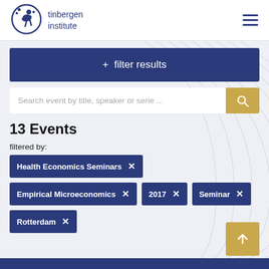[Figure (logo): Tinbergen Institute logo: circular emblem with stylized figure and dots, dark navy blue]
tinbergen institute
+ filter results
Search event by title, speaker or serie ...
13 Events
filtered by:
Health Economics Seminars ×
Empirical Microeconomics ×
2017 ×
Seminar ×
Rotterdam ×